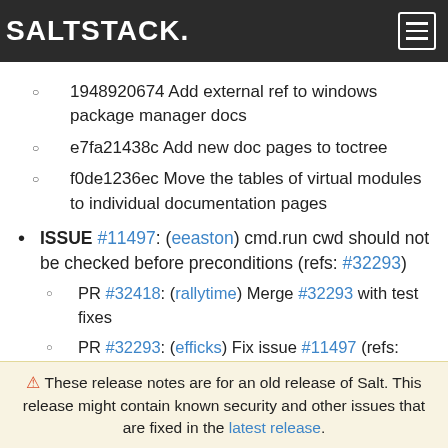SALTSTACK.
1948920674 Add external ref to windows package manager docs
e7fa21438c Add new doc pages to toctree
f0de1236ec Move the tables of virtual modules to individual documentation pages
ISSUE #11497: (eeaston) cmd.run cwd should not be checked before preconditions (refs: #32293)
PR #32418: (rallytime) Merge #32293 with test fixes
PR #32293: (efficks) Fix issue #11497 (refs: #32418)
⚠ These release notes are for an old release of Salt. This release might contain known security and other issues that are fixed in the latest release.